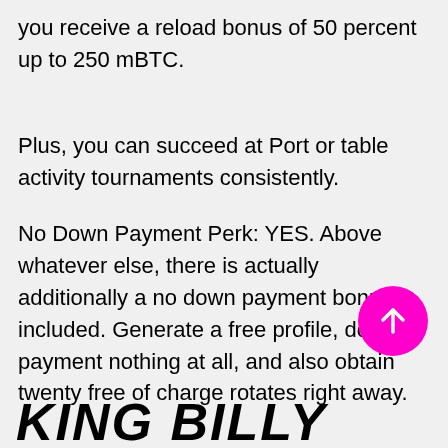you receive a reload bonus of 50 percent up to 250 mBTC.
Plus, you can succeed at Port or table activity tournaments consistently.
No Down Payment Perk: YES. Above whatever else, there is actually additionally a no down payment bonus included. Generate a free profile, down payment nothing at all, and also obtain twenty free of charge rotates right away.
KING BILLY